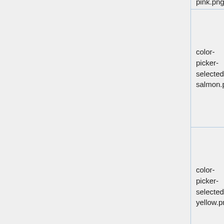| Filename | Image |  |  |
| --- | --- | --- | --- |
| pink.png | [pink color swatch] |  |  |
| color-picker-selected-salmon.png | [salmon selected swatch] |  |  |
| color-picker-selected-yellow.png | [yellow selected swatch] |  |  |
| color-picker-yellow.png | [yellow swatch] |  |  |
| dark-back-arrow.png | [blue back arrow] |  |  |
| icon- | [envelope icon] |  |  |